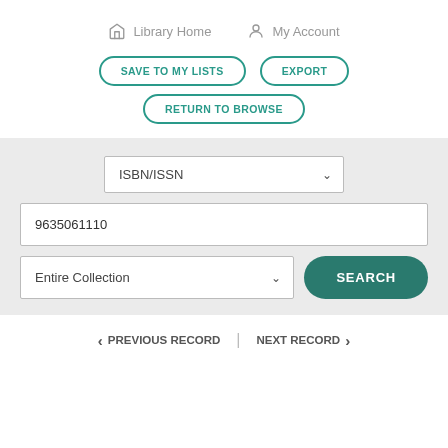Library Home  My Account
SAVE TO MY LISTS  EXPORT  RETURN TO BROWSE
[Figure (screenshot): Library catalog search interface with ISBN/ISSN dropdown, text input containing '9635061110', Entire Collection dropdown, and SEARCH button]
< PREVIOUS RECORD | NEXT RECORD >